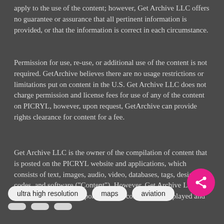apply to the use of the content; however, Get Archive LLC offers no guarantee or assurance that all pertinent information is provided, or that the information is correct in each circumstance.
Permission for use, re-use, or additional use of the content is not required. GetArchive believes there are no usage restrictions or limitations put on content in the U.S. Get Archive LLC does not charge permission and license fees for use of any of the content on PICRYL, however, upon request, GetArchive can provide rights clearance for content for a fee.
Get Archive LLC is the owner of the compilation of content that is posted on the PICRYL website and applications, which consists of text, images, audio, video, databases, tags, design, codes, and software ("Content"). However, Get Archive LLC does not own each component of the compilation displayed and accessible on the PICRYL website and applications. If you have specific questions or information about content, the website, and applications, please contact us.
ultra high resolution
maps
aviation